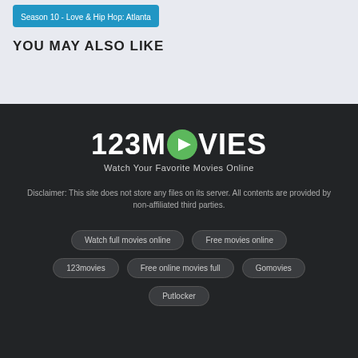Season 10 - Love & Hip Hop: Atlanta
YOU MAY ALSO LIKE
[Figure (logo): 123MOVIES logo with green play button icon and tagline 'Watch Your Favorite Movies Online']
Disclaimer: This site does not store any files on its server. All contents are provided by non-affiliated third parties.
Watch full movies online
Free movies online
123movies
Free online movies full
Gomovies
Putlocker